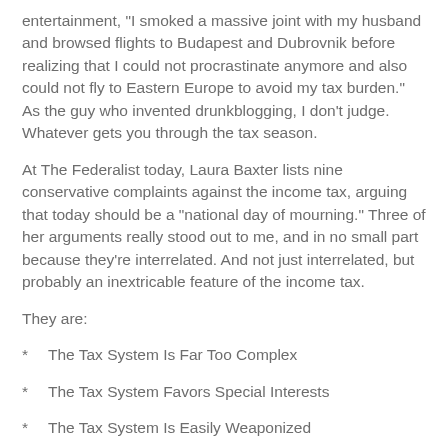entertainment, "I smoked a massive joint with my husband and browsed flights to Budapest and Dubrovnik before realizing that I could not procrastinate anymore and also could not fly to Eastern Europe to avoid my tax burden." As the guy who invented drunkblogging, I don't judge. Whatever gets you through the tax season.
At The Federalist today, Laura Baxter lists nine conservative complaints against the income tax, arguing that today should be a "national day of mourning." Three of her arguments really stood out to me, and in no small part because they're interrelated. And not just interrelated, but probably an inextricable feature of the income tax.
They are:
The Tax System Is Far Too Complex
The Tax System Favors Special Interests
The Tax System Is Easily Weaponized